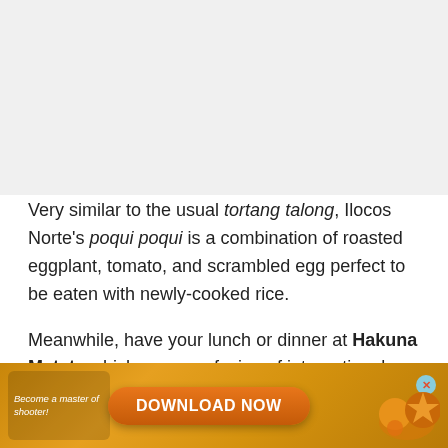Very similar to the usual tortang talong, Ilocos Norte's poqui poqui is a combination of roasted eggplant, tomato, and scrambled egg perfect to be eaten with newly-cooked rice.
Meanwhile, have your lunch or dinner at Hakuna Matata which serves a fusion of international and local dishes while feeling the sweet and cool breeze
[Figure (other): Advertisement banner for a mobile game with 'Become a master of shooter!' text, a Download Now button, and game imagery on a golden/orange background.]